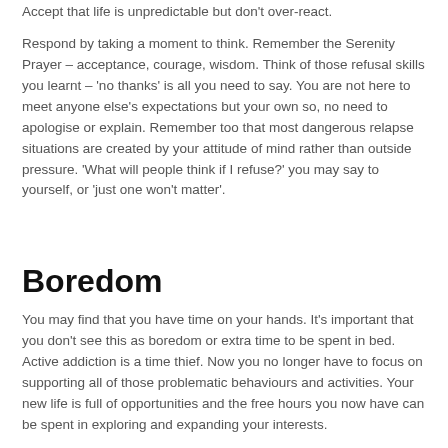Accept that life is unpredictable but don't over-react.
Respond by taking a moment to think. Remember the Serenity Prayer – acceptance, courage, wisdom. Think of those refusal skills you learnt – 'no thanks' is all you need to say. You are not here to meet anyone else's expectations but your own so, no need to apologise or explain. Remember too that most dangerous relapse situations are created by your attitude of mind rather than outside pressure. 'What will people think if I refuse?' you may say to yourself, or 'just one won't matter'.
Boredom
You may find that you have time on your hands. It's important that you don't see this as boredom or extra time to be spent in bed. Active addiction is a time thief. Now you no longer have to focus on supporting all of those problematic behaviours and activities. Your new life is full of opportunities and the free hours you now have can be spent in exploring and expanding your interests.